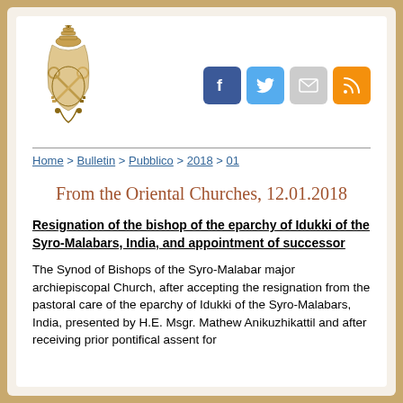[Figure (logo): Vatican Holy See coat of arms / papal tiara and keys emblem in gold/brown]
[Figure (infographic): Social media icons: Facebook (blue), Twitter (light blue), Email/mail (grey), RSS (orange)]
Home > Bulletin > Pubblico > 2018 > 01
From the Oriental Churches, 12.01.2018
Resignation of the bishop of the eparchy of Idukki of the Syro-Malabars, India, and appointment of successor
The Synod of Bishops of the Syro-Malabar major archiepiscopal Church, after accepting the resignation from the pastoral care of the eparchy of Idukki of the Syro-Malabars, India, presented by H.E. Msgr. Mathew Anikuzhikattil and after receiving prior pontifical assent for